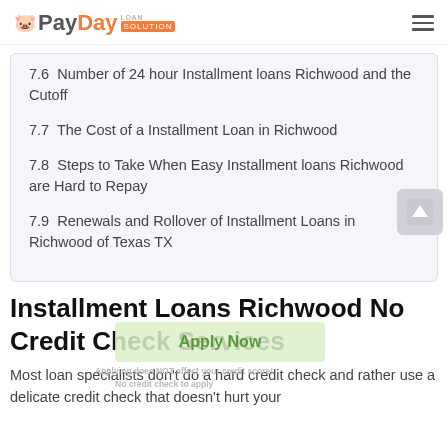PayDay Loan Solution
7.6  Number of 24 hour Installment loans Richwood and the Cutoff
7.7  The Cost of a Installment Loan in Richwood
7.8  Steps to Take When Easy Installment loans Richwood are Hard to Repay
7.9  Renewals and Rollover of Installment Loans in Richwood of Texas TX
Installment Loans Richwood No Credit Check Services
Most loan specialists don't do a hard credit check and rather use a delicate credit check that doesn't hurt your